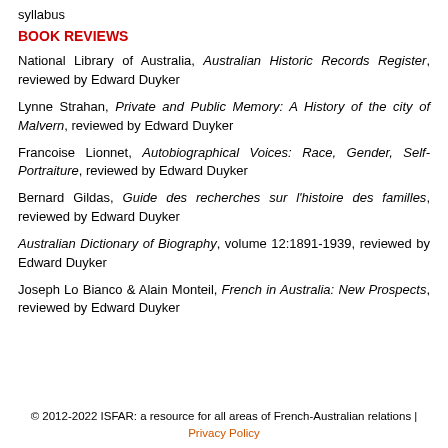syllabus
BOOK REVIEWS
National Library of Australia, Australian Historic Records Register, reviewed by Edward Duyker
Lynne Strahan, Private and Public Memory: A History of the city of Malvern, reviewed by Edward Duyker
Francoise Lionnet, Autobiographical Voices: Race, Gender, Self-Portraiture, reviewed by Edward Duyker
Bernard Gildas, Guide des recherches sur l'histoire des familles, reviewed by Edward Duyker
Australian Dictionary of Biography, volume 12:1891-1939, reviewed by Edward Duyker
Joseph Lo Bianco & Alain Monteil, French in Australia: New Prospects, reviewed by Edward Duyker
© 2012-2022 ISFAR: a resource for all areas of French-Australian relations | Privacy Policy